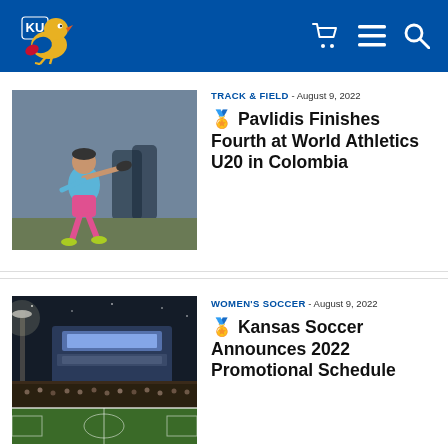KU Athletics
TRACK & FIELD – August 9, 2022
[Figure (photo): Athlete throwing discus at track and field event, wearing blue and pink uniform]
🏅 Pavlidis Finishes Fourth at World Athletics U20 in Colombia
WOMEN'S SOCCER – August 9, 2022
[Figure (photo): Soccer stadium at night, lit up with crowd in stands, green field visible]
🏅 Kansas Soccer Announces 2022 Promotional Schedule